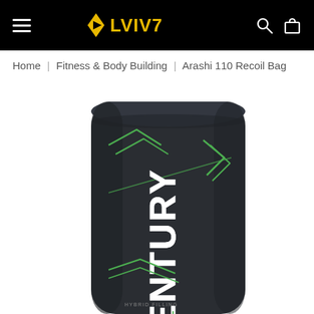LVIV7 navigation bar with hamburger menu, logo, search and cart icons
Home | Fitness & Body Building | Arashi 110 Recoil Bag
[Figure (photo): Close-up photo of a Century Arashi 110 Recoil punching bag. The bag is dark charcoal/black with green geometric chevron accent lines and white CENTURY branding text vertically on the side. The bottom portion shows additional text partially visible.]